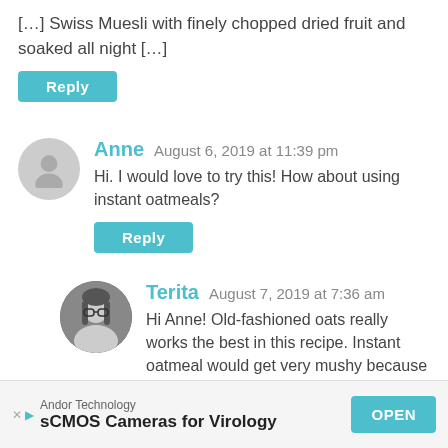[…] Swiss Muesli with finely chopped dried fruit and soaked all night […]
Reply
Anne  August 6, 2019 at 11:39 pm
Hi. I would love to try this! How about using instant oatmeals?
Reply
Terita  August 7, 2019 at 7:36 am
Hi Anne! Old-fashioned oats really works the best in this recipe. Instant oatmeal would get very mushy because the pieces are
Andor Technology
sCMOS Cameras for Virology
OPEN